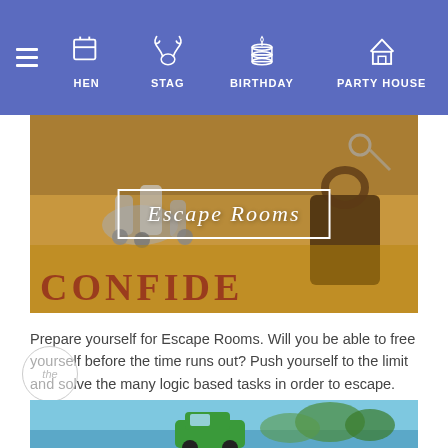HEN  STAG  BIRTHDAY  PARTY HOUSE
[Figure (photo): Photo of escape room props including metal figurines, padlock, and a 'Confidential' envelope, with a white-bordered text overlay reading 'Escape Rooms' in italic script]
Prepare yourself for Escape Rooms. Will you be able to free yourself before the time runs out? Push yourself to the limit and solve the many logic based tasks in order to escape. Available from £17pp in cities such as London, Cambridge and Edinburgh as well as many more.
[Figure (photo): Partial bottom strip showing a blue sky with trees and a green vehicle, partially visible at bottom of page]